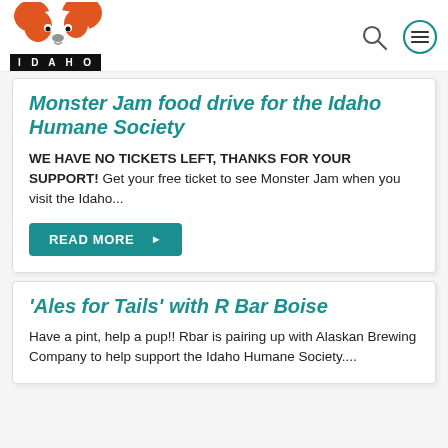[Figure (logo): Idaho Humane Society logo: orange and white cartoon dog head]
IDAHO
Monster Jam food drive for the Idaho Humane Society
WE HAVE NO TICKETS LEFT, THANKS FOR YOUR SUPPORT! Get your free ticket to see Monster Jam when you visit the Idaho...
READ MORE ▶
'Ales for Tails' with R Bar Boise
Have a pint, help a pup!! Rbar is pairing up with Alaskan Brewing Company to help support the Idaho Humane Society....